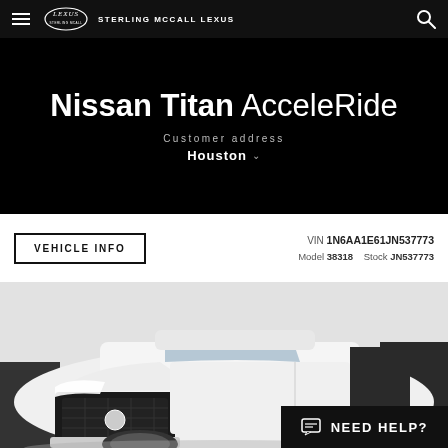Sterling McCall Lexus
Nissan Titan AcceleRide
Customer address
Houston
VEHICLE INFO
VIN 1N6AA1E61JN537773  Model 38318  Stock JN537773
[Figure (photo): White Nissan Titan pickup truck photographed from front-left angle in a studio/showroom setting]
NEED HELP?